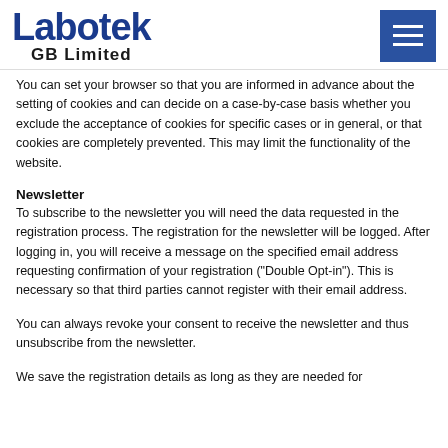Labotek GB Limited
You can set your browser so that you are informed in advance about the setting of cookies and can decide on a case-by-case basis whether you exclude the acceptance of cookies for specific cases or in general, or that cookies are completely prevented. This may limit the functionality of the website.
Newsletter
To subscribe to the newsletter you will need the data requested in the registration process. The registration for the newsletter will be logged. After logging in, you will receive a message on the specified email address requesting confirmation of your registration ("Double Opt-in"). This is necessary so that third parties cannot register with their email address.
You can always revoke your consent to receive the newsletter and thus unsubscribe from the newsletter.
We save the registration details as long as they are needed for